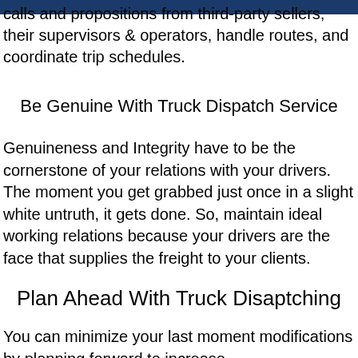calls and propositions from third-party sellers, their supervisors & operators, handle routes, and coordinate trip schedules.
Be Genuine With Truck Dispatch Service
Genuineness and Integrity have to be the cornerstone of your relations with your drivers. The moment you get grabbed just once in a slight white untruth, it gets done. So, maintain ideal working relations because your drivers are the face that supplies the freight to your clients.
Plan Ahead With Truck Disaptching
You can minimize your last moment modifications by planning forward to increase